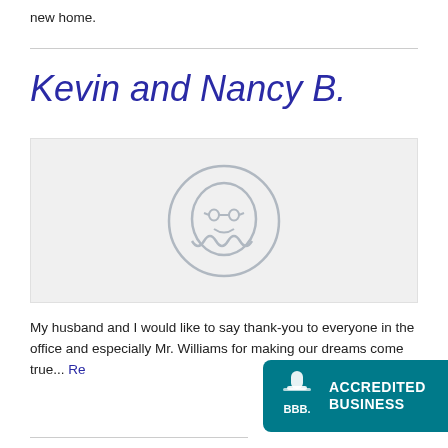new home.
Kevin and Nancy B.
[Figure (illustration): Placeholder avatar image with a ghost/chat bubble mascot icon inside a circle, on a light gray background]
My husband and I would like to say thank-you to everyone in the office and especially Mr. Williams for making our dreams come true... Re
[Figure (logo): BBB Accredited Business badge with teal background, BBB logo and text 'ACCREDITED BUSINESS']